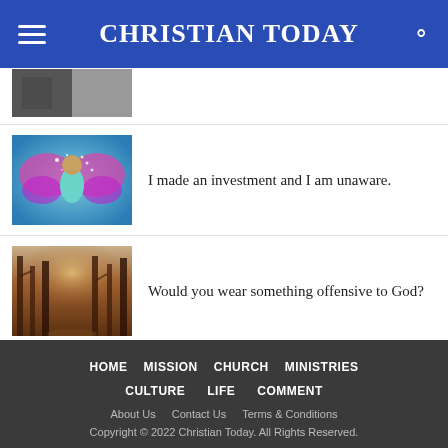CHRISTIAN TODAY
[Figure (photo): Partial thumbnail image of an article, cropped at top]
[Figure (photo): Colorful photo of a person blowing glitter with a butterfly background]
I made an investment and I am unaware.
[Figure (photo): Dark forest path photo]
Would you wear something offensive to God?
HOME  MISSION  CHURCH  MINISTRIES  CULTURE  LIFE  COMMENT  About Us  Contact Us  Terms & Conditions  Copyright © 2022 Christian Today. All Rights Reserved.